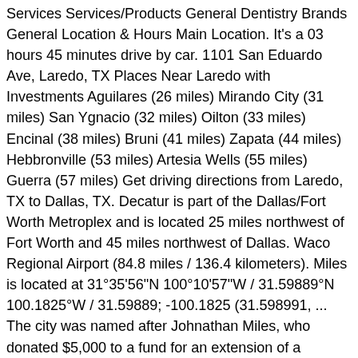Services Services/Products General Dentistry Brands General Location & Hours Main Location. It's a 03 hours 45 minutes drive by car. 1101 San Eduardo Ave, Laredo, TX Places Near Laredo with Investments Aguilares (26 miles) Mirando City (31 miles) San Ygnacio (32 miles) Oilton (33 miles) Encinal (38 miles) Bruni (41 miles) Zapata (44 miles) Hebbronville (53 miles) Artesia Wells (55 miles) Guerra (57 miles) Get driving directions from Laredo, TX to Dallas, TX. Decatur is part of the Dallas/Fort Worth Metroplex and is located 25 miles northwest of Fort Worth and 45 miles northwest of Dallas. Waco Regional Airport (84.8 miles / 136.4 kilometers). Miles is located at 31°35'56"N 100°10'57"W / 31.59889°N 100.1825°W / 31.59889; -100.1825 (31.598991, ... The city was named after Johnathan Miles, who donated $5,000 to a fund for an extension of a railroad track. Dallas Love Field (5.1 miles / 8.3 kilometers). Flight distance is approximately 225 miles (362 km) and flight time from Dallas, TX to Houston, TX is 27 minutes.Don't forget to check out our "Gas cost calculator" option. Some base content is truncated here.